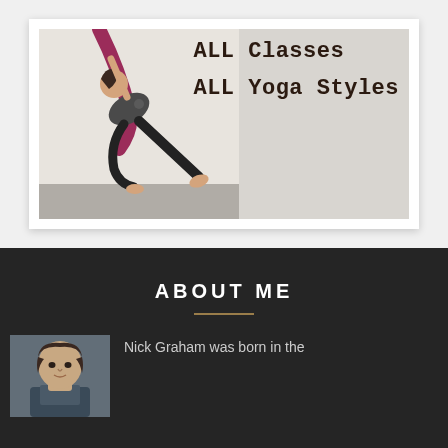[Figure (photo): A yoga practitioner performing an aerial/suspended backbend pose with a pink fabric, wearing black pants and a gray top. Text on the right side reads 'ALL Classes' and 'ALL Yoga Styles'.]
ABOUT ME
[Figure (photo): Headshot photo of Nick Graham, a man with dark hair.]
Nick Graham was born in the